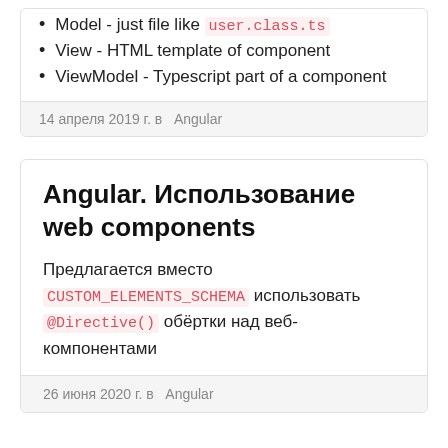Model - just file like user.class.ts
View - HTML template of component
ViewModel - Typescript part of a component
14 апреля 2019 г. в  Angular
Angular. Использование web components
Предлагается вместо CUSTOM_ELEMENTS_SCHEMA использовать @Directive() обёртки над веб-компонентами
26 июня 2020 г. в  Angular